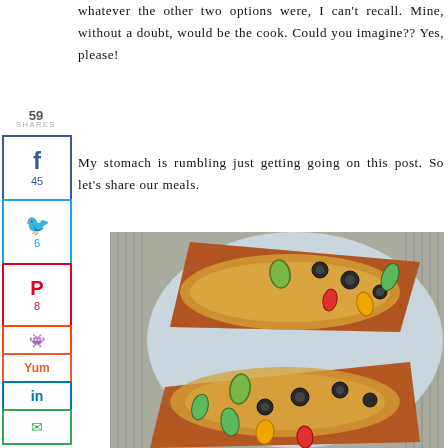whatever the other two options were, I can't recall. Mine, without a doubt, would be the cook. Could you imagine?? Yes, please!
My stomach is rumbling just getting going on this post. So let's share our meals.
[Figure (photo): Two slices of pizza topped with olives, bell peppers (green, yellow, orange, red), avocado, and melted cheese on a light blue plate, photographed from above on a gray textured background.]